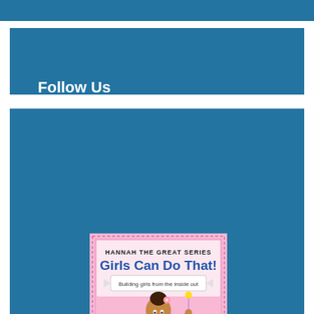Follow Us
[Figure (illustration): Book cover for 'Hannah the Great Series: Girls Can Do That!' with subtitle 'Building girls from the inside out', showing a cartoon girl in a pink/purple ballet outfit with her hair up in a bun, on a pink background with decorative border.]